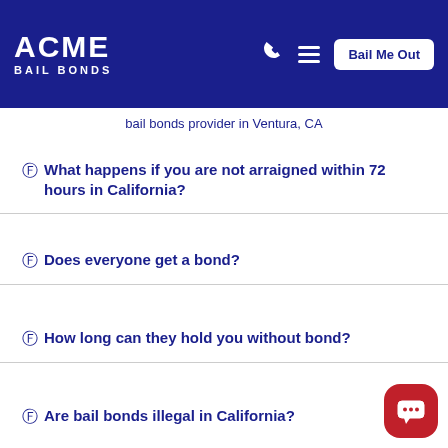ACME BAIL BONDS
bail bonds provider in Ventura, CA
⑦ What happens if you are not arraigned within 72 hours in California?
⑦ Does everyone get a bond?
⑦ How long can they hold you without bond?
⑦ Are bail bonds illegal in California?